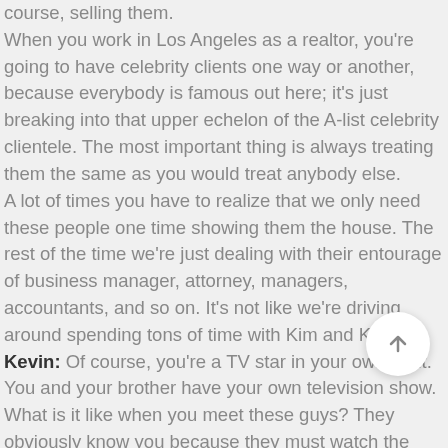course, selling them. When you work in Los Angeles as a realtor, you're going to have celebrity clients one way or another, because everybody is famous out here; it's just breaking into that upper echelon of the A-list celebrity clientele. The most important thing is always treating them the same as you would treat anybody else. A lot of times you have to realize that we only need these people one time showing them the house. The rest of the time we're just dealing with their entourage of business manager, attorney, managers, accountants, and so on. It's not like we're driving around spending tons of time with Kim and Kanye.
Kevin: Of course, you're a TV star in your own right. You and your brother have your own television show. What is it like when you meet these guys? They obviously know you because they must watch the show. Is that a big attraction for them?
Josh: For some people, it is. For others, it actually is not a big attraction because they'd rather keep their finances private. I would say out of, let's say, 100 clients a year, I only put 10 of them on the